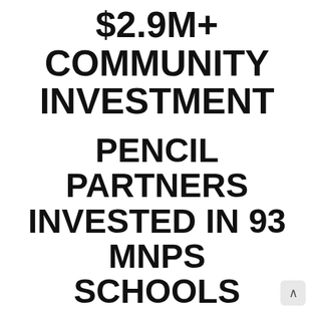$2.9M+ COMMUNITY INVESTMENT
PENCIL PARTNERS INVESTED IN 93 MNPS SCHOOLS
700 Industry Certification Exams Taken | 59% passed | 12% Increase Over the Previous Year